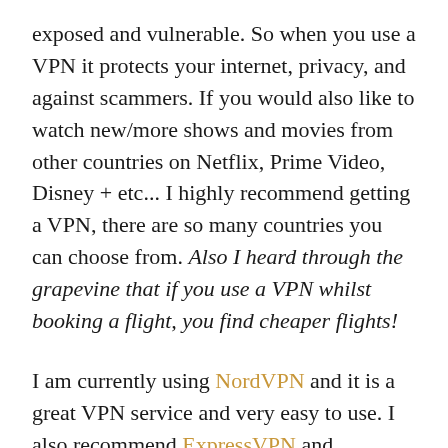exposed and vulnerable. So when you use a VPN it protects your internet, privacy, and against scammers. If you would also like to watch new/more shows and movies from other countries on Netflix, Prime Video, Disney + etc... I highly recommend getting a VPN, there are so many countries you can choose from. Also I heard through the grapevine that if you use a VPN whilst booking a flight, you find cheaper flights!
I am currently using NordVPN and it is a great VPN service and very easy to use. I also recommend ExpressVPN and Tunnelbear as these are the ones that I've tried before, that work and are really good.